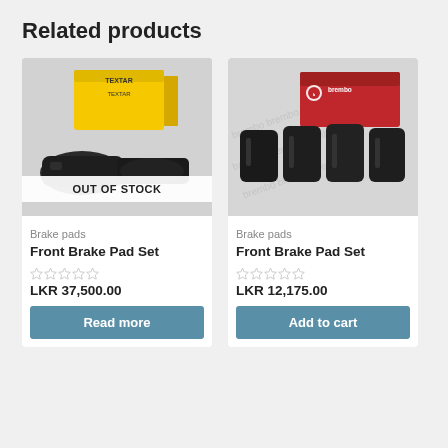Related products
[Figure (photo): Textar brake pad set product image showing yellow box and brake pads, with OUT OF STOCK overlay banner]
Brake pads
Front Brake Pad Set
★★★★★ LKR 37,500.00
Read more
[Figure (photo): Brembo brake pad set product image showing red branded box and four brake pads]
Brake pads
Front Brake Pad Set
★★★★★ LKR 12,175.00
Add to cart